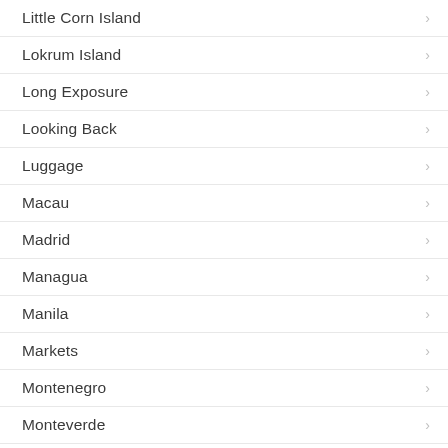Little Corn Island
Lokrum Island
Long Exposure
Looking Back
Luggage
Macau
Madrid
Managua
Manila
Markets
Montenegro
Monteverde
Museums